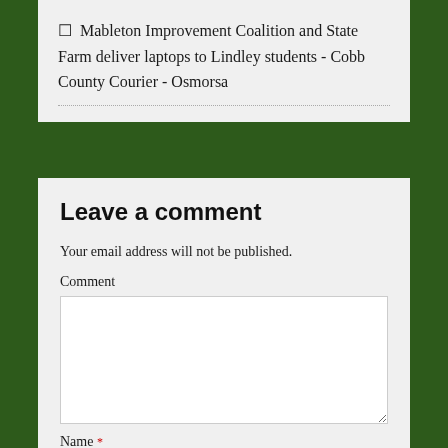☐  Mableton Improvement Coalition and State Farm deliver laptops to Lindley students - Cobb County Courier - Osmorsa
Leave a comment
Your email address will not be published.
Comment
Name *